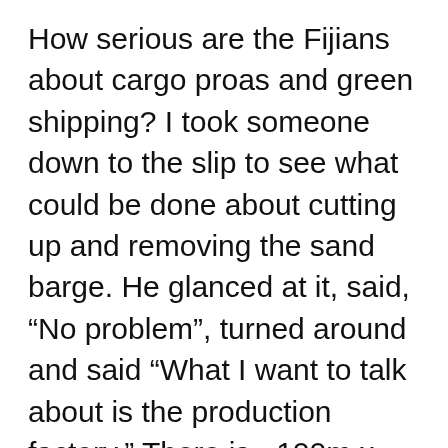How serious are the Fijians about cargo proas and green shipping? I took someone down to the slip to see what could be done about cutting up and removing the sand barge. He glanced at it, said, “No problem”, turned around and said “What I want to talk about is the production factory.” There is ~100m x 75m of flat land (currently a flourishing taro patch and 2 cargo proa sheds) and he wanted to know what a cargo proa building factory, with class rooms to teach modern and traditional sailing, building and navigation, a full width slipway, offices, maritime museum and an